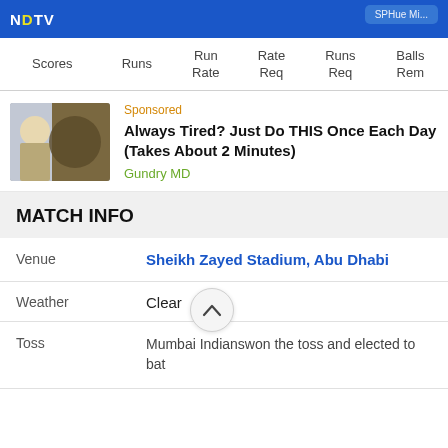NDTV
| Scores | Runs | Run Rate | Rate Req | Runs Req | Balls Rem |
| --- | --- | --- | --- | --- | --- |
[Figure (photo): Sponsored advertisement image showing a man in a suit pointing, next to a bowl of food/supplement]
Sponsored
Always Tired? Just Do THIS Once Each Day (Takes About 2 Minutes)
Gundry MD
MATCH INFO
Venue: Sheikh Zayed Stadium, Abu Dhabi
Weather: Clear
Toss: Mumbai Indianswon the toss and elected to bat